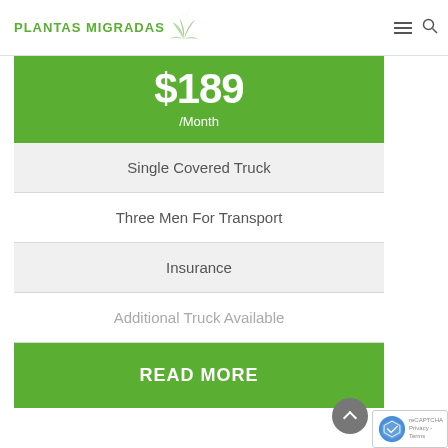PLANTAS MIGRADAS
$189 /Month
Single Covered Truck
Three Men For Transport
Insurance
Additional Truck Available
READ MORE